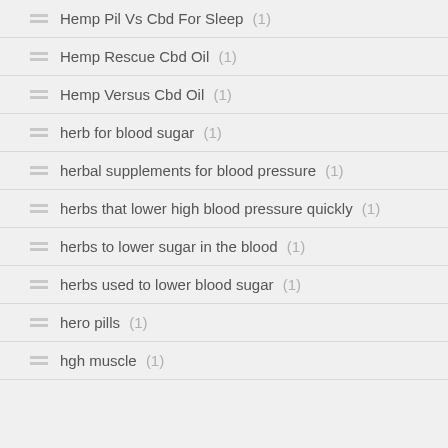Hemp Pil Vs Cbd For Sleep (1)
Hemp Rescue Cbd Oil (1)
Hemp Versus Cbd Oil (1)
herb for blood sugar (1)
herbal supplements for blood pressure (1)
herbs that lower high blood pressure quickly (1)
herbs to lower sugar in the blood (1)
herbs used to lower blood sugar (1)
hero pills (1)
hgh muscle (1)